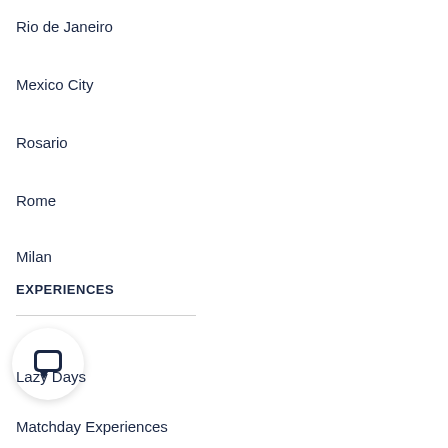Rio de Janeiro
Mexico City
Rosario
Rome
Milan
EXPERIENCES
Lazy Days
Matchday Experiences